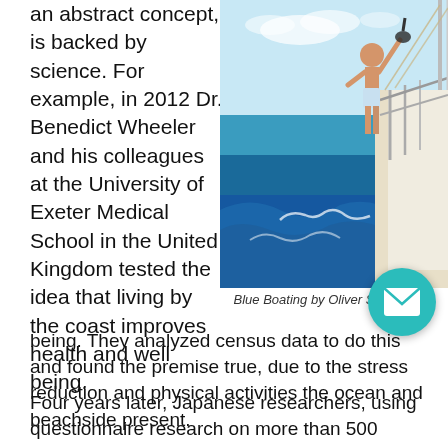an abstract concept, is backed by science. For example, in 2012 Dr. Benedict Wheeler and his colleagues at the University of Exeter Medical School in the United Kingdom tested the idea that living by the coast improves health and well being. They analyzed census data to do this and found the premise true, due to the stress reduction and physical activities the ocean and beachside present.
[Figure (photo): Person standing on the bow of a sailboat over blue ocean water, raising one arm holding a snorkel mask. Sailboat railing and mast visible on the right side. Sky and sea in background.]
Blue Boating by Oliver S
Four years later, Japanese researchers, using questionnaire research on more than 500 residents, found those who lived near the sea showed greater positive